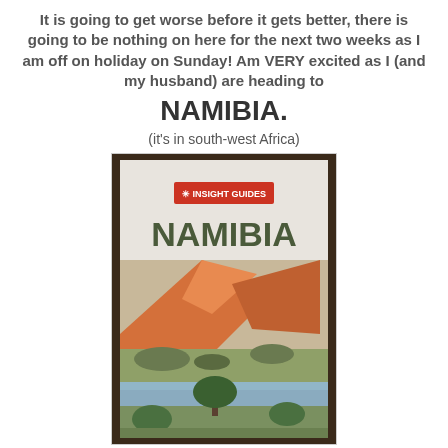It is going to get worse before it gets better, there is going to be nothing on here for the next two weeks as I am off on holiday on Sunday! Am VERY excited as I (and my husband) are heading to
NAMIBIA.
(it's in south-west Africa)
[Figure (photo): Photo of an Insight Guides Namibia travel book with a desert landscape on the cover featuring orange sand dunes, sparse vegetation, and a small tree in the foreground.]